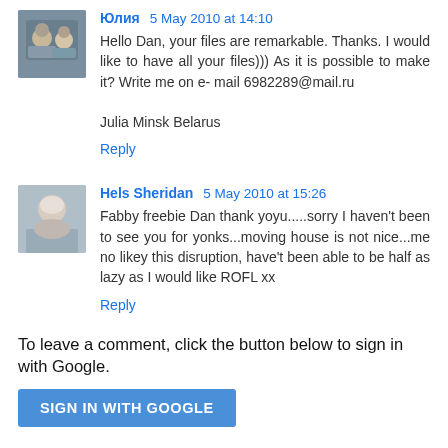[Figure (photo): Avatar photo of Юлия, a small square photo showing two people outdoors]
Юлия 5 May 2010 at 14:10
Hello Dan, your files are remarkable. Thanks. I would like to have all your files))) As it is possible to make it? Write me on e- mail 6982289@mail.ru

Julia Minsk Belarus
Reply
[Figure (photo): Avatar photo of Hels Sheridan, a small square photo of a woman with short light hair]
Hels Sheridan 5 May 2010 at 15:26
Fabby freebie Dan thank yoyu.....sorry I haven't been to see you for yonks...moving house is not nice...me no likey this disruption, have't been able to be half as lazy as I would like ROFL xx
Reply
To leave a comment, click the button below to sign in with Google.
SIGN IN WITH GOOGLE